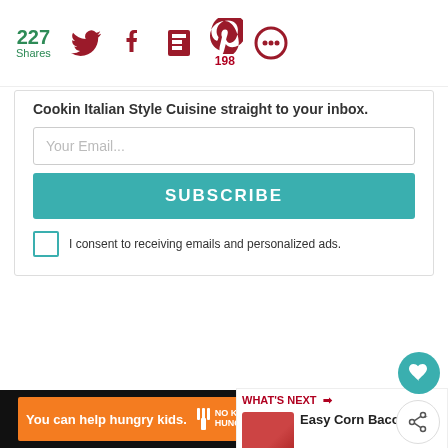227 Shares
Cookin Italian Style Cuisine straight to your inbox.
Your Email...
SUBSCRIBE
I consent to receiving emails and personalized ads.
I always dump more to taste by how my taste buds feel that day.
WHAT'S NEXT Easy Corn Bacon...
You can help hungry kids.
LEARN HOW